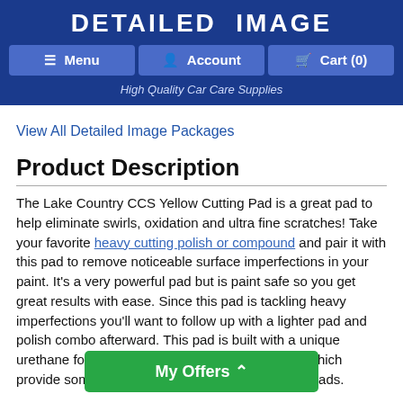DETAILED IMAGE
Menu  Account  Cart (0)
High Quality Car Care Supplies
View All Detailed Image Packages
Product Description
The Lake Country CCS Yellow Cutting Pad is a great pad to help eliminate swirls, oxidation and ultra fine scratches! Take your favorite heavy cutting polish or compound and pair it with this pad to remove noticeable surface imperfections in your paint. It's a very powerful pad but is paint safe so you get great results with ease. Since this pad is tackling heavy imperfections you'll want to follow up with a lighter pad and polish combo afterward. This pad is built with a unique urethane foam formulation and CCS technology, which provide some unique advantages over traditional pads.
Traditional foam...too quickly,
My Offers